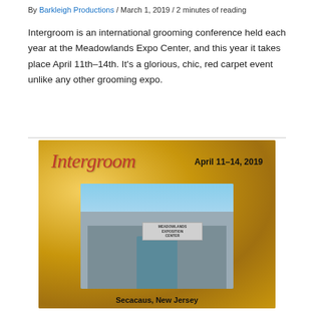By Barkleigh Productions / March 1, 2019 / 2 minutes of reading
Intergroom is an international grooming conference held each year at the Meadowlands Expo Center, and this year it takes place April 11th–14th. It's a glorious, chic, red carpet event unlike any other grooming expo.
[Figure (photo): Intergroom April 11–14, 2019 promotional image with gold glitter background. Shows the Meadowlands Exposition Center building photo with 'Sponsored by Groomers Helper' text and 'Secacaus, New Jersey' caption at bottom.]